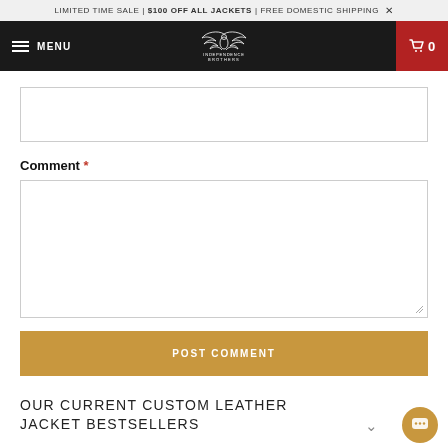LIMITED TIME SALE | $100 OFF ALL JACKETS | FREE DOMESTIC SHIPPING ×
[Figure (screenshot): Navigation bar with hamburger menu, MENU text, Independence Brothers logo (eagle wings), and red cart icon with 0]
Comment *
POST COMMENT
OUR CURRENT CUSTOM LEATHER JACKET BESTSELLERS